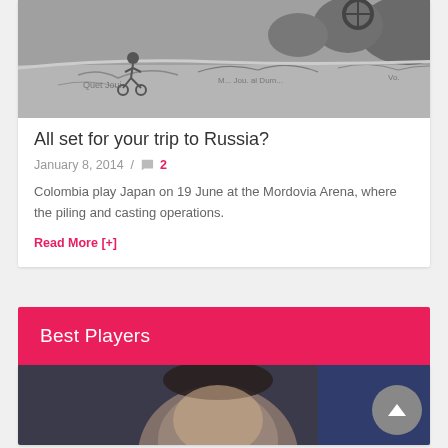[Figure (photo): Black and white photo of a person on a bicycle at a skate park with graffiti]
All set for your trip to Russia?
January 8, 2014 /  💬 2
Colombia play Japan on 19 June at the Mordovia Arena, where the piling and casting operations.
Read More [+]
Best Players
[Figure (photo): Blurred photo of a person's face, partially visible at bottom of page]